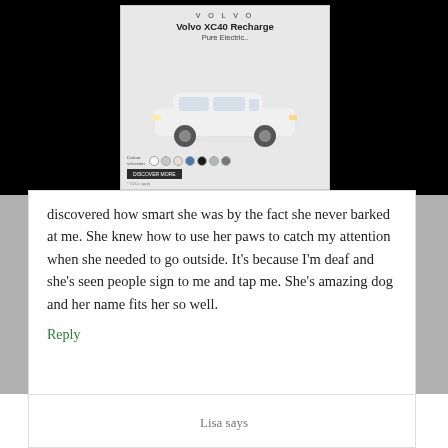[Figure (advertisement): Volvo XC40 Recharge Pure Electric advertisement showing the car with color selector dots and a CTA button]
discovered how smart she was by the fact she never barked at me. She knew how to use her paws to catch my attention when she needed to go outside. It's because I'm deaf and she's seen people sign to me and tap me. She's amazing dog and her name fits her so well.
Reply
Lisa says